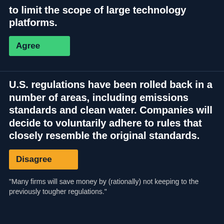to limit the scope of large technology platforms.
Agree
U.S. regulations have been rolled back in a number of areas, including emissions standards and clean water. Companies will decide to voluntarily adhere to rules that closely resemble the original standards.
Disagree
“Many firms will save money by (rationally) not keeping to the previously tougher regulations.”